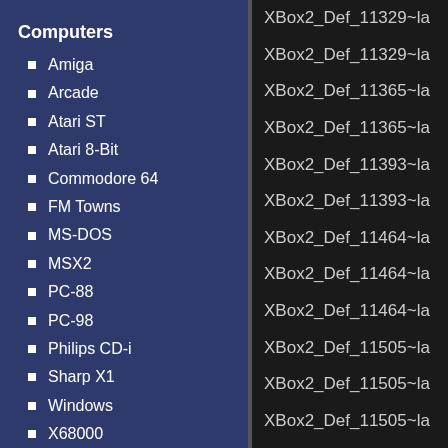Computers
Amiga
Arcade
Atari ST
Atari 8-Bit
Commodore 64
FM Towns
MS-DOS
MSX2
PC-88
PC-98
Philips CD-i
Sharp X1
Windows
X68000
ZX Spectrum
Emulated Files
XBox2_Def_11329~la
XBox2_Def_11329~la
XBox2_Def_11365~la
XBox2_Def_11365~la
XBox2_Def_11393~la
XBox2_Def_11393~la
XBox2_Def_11464~la
XBox2_Def_11464~la
XBox2_Def_11464~la
XBox2_Def_11505~la
XBox2_Def_11505~la
XBox2_Def_11505~la
XBox2_Def_11505~la
XBox2_Def_1276~32
XBox2_Def_12933~la